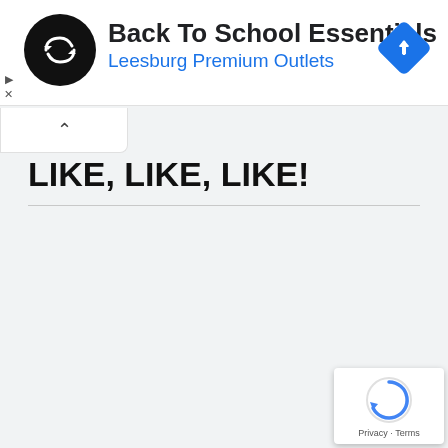[Figure (screenshot): Advertisement banner for Back To School Essentials at Leesburg Premium Outlets, with a black circular logo with infinity symbol, navigation diamond icon, and small play/close icons.]
LIKE, LIKE, LIKE!
[Figure (logo): Google reCAPTCHA badge with spinning arrow icon and Privacy - Terms text.]